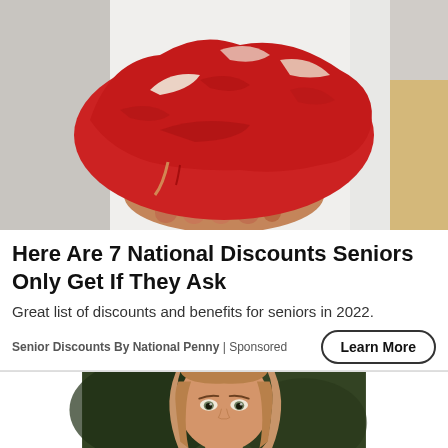[Figure (photo): A person in a white coat holding a large raw red cut of beef meat, viewed from the front against a blurred background.]
Here Are 7 National Discounts Seniors Only Get If They Ask
Great list of discounts and benefits for seniors in 2022.
Senior Discounts By National Penny | Sponsored
Learn More
[Figure (photo): Portrait of a young woman with long straight blonde/auburn hair and light-colored eyes, looking at the camera against a dark green background.]